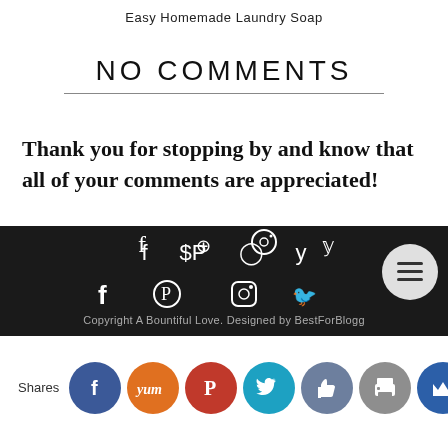Easy Homemade Laundry Soap
NO COMMENTS
Thank you for stopping by and know that all of your comments are appreciated!
Copyright A Bountiful Love. Designed by BestForBlogg...
[Figure (infographic): Social share buttons row: Facebook (blue), Yum (orange), Pinterest (red), Twitter (teal), Like (blue-grey), Print (grey), Crown (dark blue)]